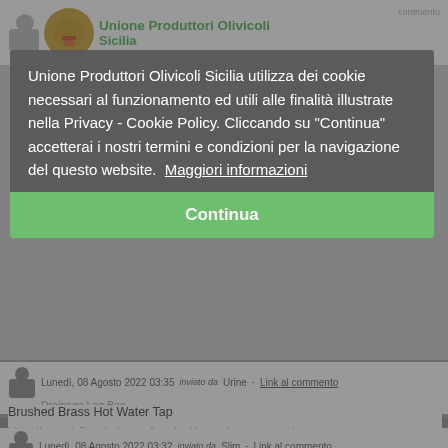[Figure (screenshot): Website header of Unione Produttori Olivicoli Sicilia with logo and green site title]
Unione Produttori Olivicoli Sicilia utilizza dei cookie necessari al funzionamento ed utili alle finalità illustrate nella Privacy - Cookie Policy. Cliccando su "Continua" accetterai i nostri termini e condizioni per la navigazione del questo website.  Maggiori informazioni
Continua
Lunedì, 08 Agosto 2022 03:35   inviato da Urine   Link al commento
Drainage Leg Bag
Brushed Brass Hot Water Tap
https://www.dqfloordrain.com/brushed-brass-hot-water-tap/
Urine Drainage Leg Bag https://www.greatcaremed.com/urine-drainage-leg-bag.html
Lunedì, 08 Agosto 2022 03:32   inviato da Slim   Link al commento